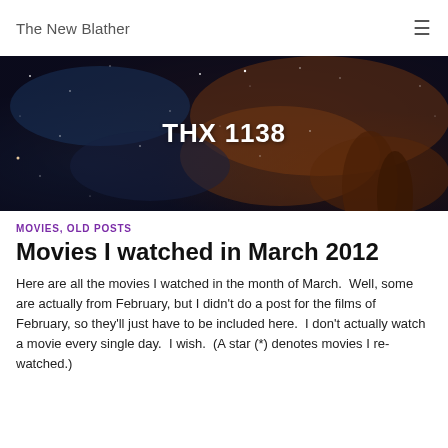The New Blather
[Figure (photo): Space nebula / galaxy background image with text overlay 'THX 1138' in white bold font centered on the image.]
MOVIES, OLD POSTS
Movies I watched in March 2012
Here are all the movies I watched in the month of March.  Well, some are actually from February, but I didn't do a post for the films of February, so they'll just have to be included here.  I don't actually watch a movie every single day.  I wish.  (A star (*) denotes movies I re-watched.)